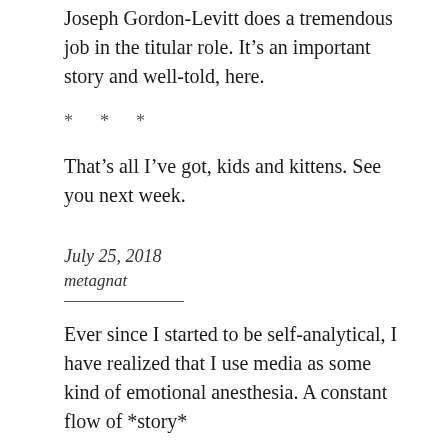Joseph Gordon-Levitt does a tremendous job in the titular role. It’s an important story and well-told, here.
* * *
That’s all I’ve got, kids and kittens. See you next week.
July 25, 2018
metagnat
Ever since I started to be self-analytical, I have realized that I use media as some kind of emotional anesthesia. A constant flow of *story*